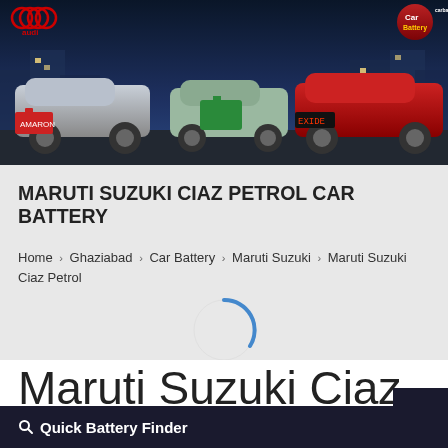[Figure (photo): Website header banner showing cars including a silver sedan, another sedan with a green battery, and a red Audi car on a dark blue/city background. Audi logo top-left, carBatteryNearMe logo top-right.]
MARUTI SUZUKI CIAZ PETROL CAR BATTERY
Home > Ghaziabad > Car Battery > Maruti Suzuki > Maruti Suzuki Ciaz Petrol
[Figure (other): Loading spinner (circular arc in blue/grey) indicating page content is loading]
Maruti Suzuki Ciaz Petrol Car Battery
Quick Battery Finder